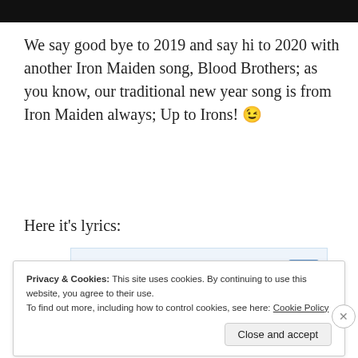[Figure (photo): Dark/black image bar at top of page]
We say good bye to 2019 and say hi to 2020 with another Iron Maiden song, Blood Brothers; as you know, our traditional new year song is from Iron Maiden always; Up to Irons! 😉
Here it's lyrics:
[Figure (screenshot): Advertisement banner with text 'Post on the go.' and a blue icon on the right. 'REPORT THIS AD' text below.]
Privacy & Cookies: This site uses cookies. By continuing to use this website, you agree to their use.
To find out more, including how to control cookies, see here: Cookie Policy
Close and accept